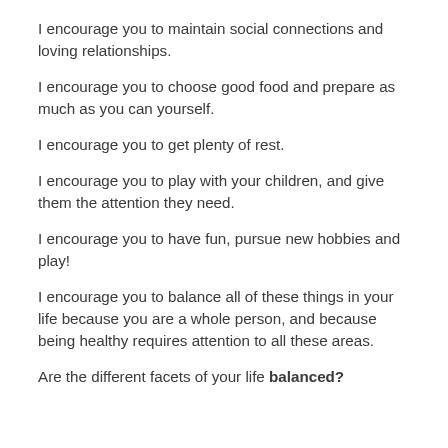I encourage you to maintain social connections and loving relationships.
I encourage you to choose good food and prepare as much as you can yourself.
I encourage you to get plenty of rest.
I encourage you to play with your children, and give them the attention they need.
I encourage you to have fun, pursue new hobbies and play!
I encourage you to balance all of these things in your life because you are a whole person, and because being healthy requires attention to all these areas.
Are the different facets of your life balanced?